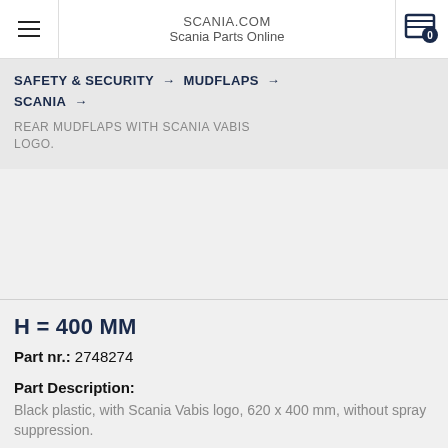SCANIA.COM
Scania Parts Online
SAFETY & SECURITY → MUDFLAPS → SCANIA →
REAR MUDFLAPS WITH SCANIA VABIS LOGO.
[Figure (photo): Product image area (blank/loading)]
H = 400 MM
Part nr.: 2748274
Part Description:
Black plastic, with Scania Vabis logo, 620 x 400 mm, without spray suppression.